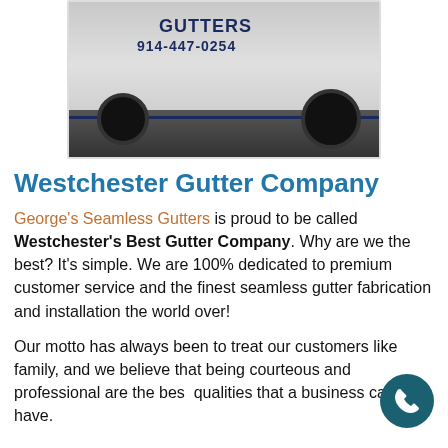[Figure (photo): Photo of a white work van with 'GUTTERS' and '914-447-0254' written on the side in dark blue lettering]
Westchester Gutter Company
George's Seamless Gutters is proud to be called Westchester's Best Gutter Company. Why are we the best? It's simple. We are 100% dedicated to premium customer service and the finest seamless gutter fabrication and installation the world over!
Our motto has always been to treat our customers like family, and we believe that being courteous and professional are the best qualities that a business can have.